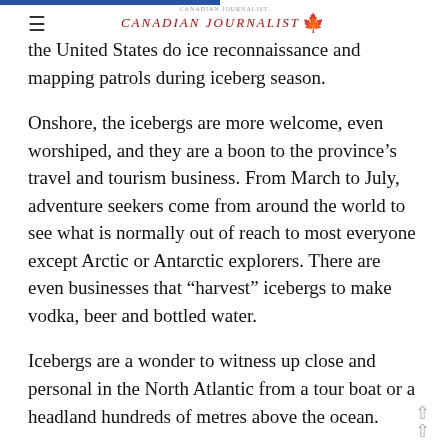Canadian Journalist
the United States do ice reconnaissance and mapping patrols during iceberg season.
Onshore, the icebergs are more welcome, even worshiped, and they are a boon to the province’s travel and tourism business. From March to July, adventure seekers come from around the world to see what is normally out of reach to most everyone except Arctic or Antarctic explorers. There are even businesses that “harvest” icebergs to make vodka, beer and bottled water.
Icebergs are a wonder to witness up close and personal in the North Atlantic from a tour boat or a headland hundreds of metres above the ocean.